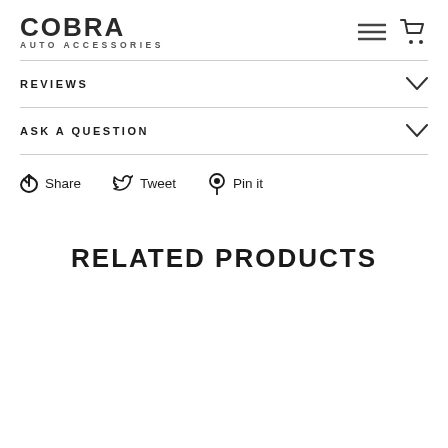COBRA AUTO ACCESSORIES
REVIEWS
ASK A QUESTION
Share  Tweet  Pin it
RELATED PRODUCTS